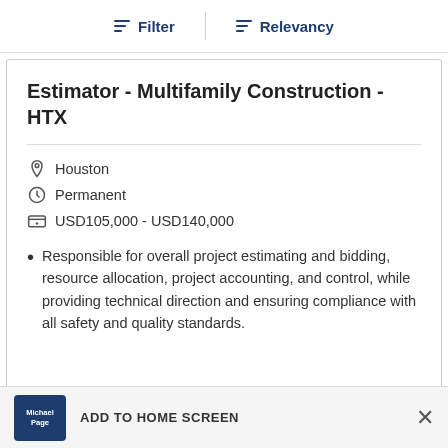Filter  Relevancy
Estimator - Multifamily Construction - HTX
Houston
Permanent
USD105,000 - USD140,000
Responsible for overall project estimating and bidding, resource allocation, project accounting, and control, while providing technical direction and ensuring compliance with all safety and quality standards.
Michael Page  ADD TO HOME SCREEN